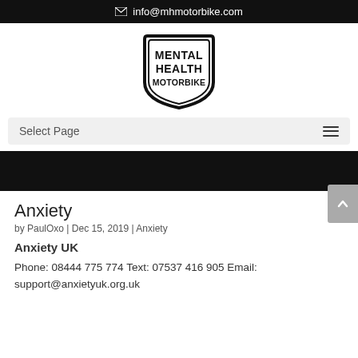info@mhmotorbike.com
[Figure (logo): Mental Health Motorbike shield logo with bold text reading MENTAL HEALTH MOTORBIKE]
Select Page
Anxiety
by PaulOxo | Dec 15, 2019 | Anxiety
Anxiety UK
Phone: 08444 775 774 Text: 07537 416 905 Email: support@anxietyuk.org.uk